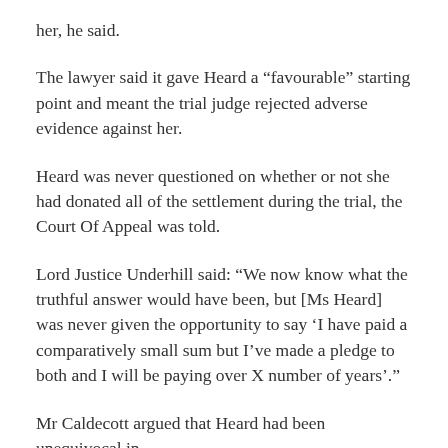her, he said.
The lawyer said it gave Heard a “favourable” starting point and meant the trial judge rejected adverse evidence against her.
Heard was never questioned on whether or not she had donated all of the settlement during the trial, the Court Of Appeal was told.
Lord Justice Underhill said: “We now know what the truthful answer would have been, but [Ms Heard] was never given the opportunity to say ‘I have paid a comparatively small sum but I’ve made a pledge to both and I will be paying over X number of years’.”
Mr Caldecott argued that Heard had been unequivocal in